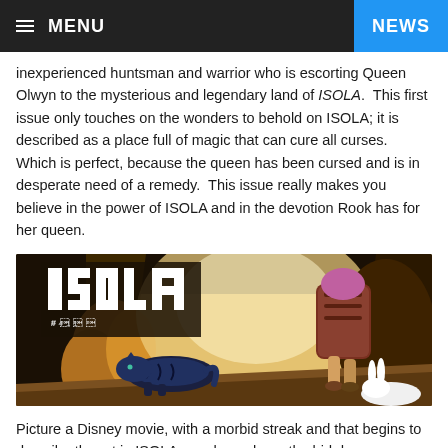≡ MENU   NEWS
inexperienced huntsman and warrior who is escorting Queen Olwyn to the mysterious and legendary land of ISOLA.  This first issue only touches on the wonders to behold on ISOLA; it is described as a place full of magic that can cure all curses.  Which is perfect, because the queen has been cursed and is in desperate need of a remedy.  This issue really makes you believe in the power of ISOLA and in the devotion Rook has for her queen.
[Figure (illustration): Comic book cover art for ISOLA showing a blue-striped tiger walking through a rocky canyon landscape with a figure carrying a large pack on their back. The ISOLA logo appears in the upper left corner with subtitle text.]
Picture a Disney movie, with a morbid streak and that begins to describe the art in ISOLA.  yeah you have the bid dewey eyes on the main character, but you also get to see animals being killed and ripped apart.  This issue features lines from Kerschl, colors from Msassyk, and letters from